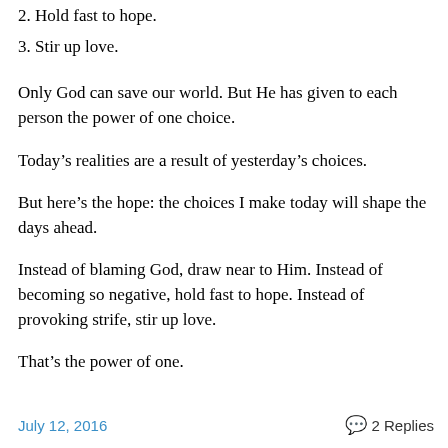2. Hold fast to hope.
3. Stir up love.
Only God can save our world. But He has given to each person the power of one choice.
Today’s realities are a result of yesterday’s choices.
But here’s the hope: the choices I make today will shape the days ahead.
Instead of blaming God, draw near to Him. Instead of becoming so negative, hold fast to hope. Instead of provoking strife, stir up love.
That’s the power of one.
July 12, 2016   2 Replies